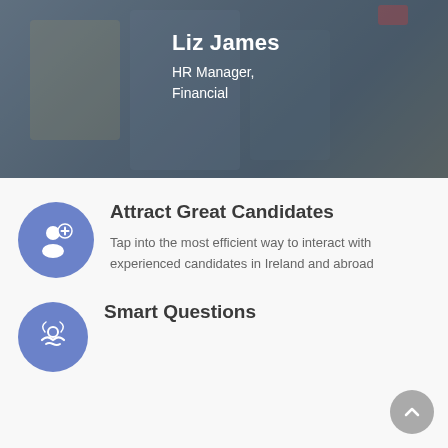[Figure (photo): Hero background image showing a blurred office/professional setting with a dark overlay. Text overlay shows name and role.]
Liz James
HR Manager,
Financial
[Figure (illustration): Blue circle icon with a person/add user silhouette in white]
Attract Great Candidates
Tap into the most efficient way to interact with experienced candidates in Ireland and abroad
[Figure (illustration): Blue circle icon with a handshake or smart questions symbol in white]
Smart Questions